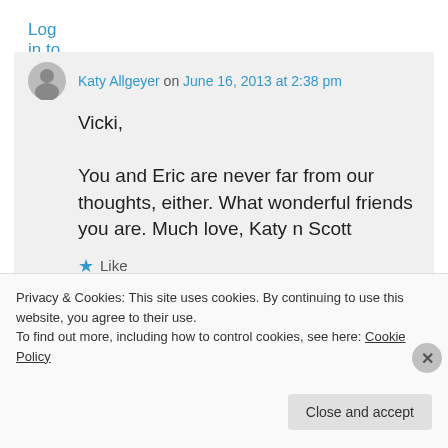Log in to Reply
Katy Allgeyer on June 16, 2013 at 2:38 pm

Vicki,

You and Eric are never far from our thoughts, either. What wonderful friends you are. Much love, Katy n Scott

★ Like
Log in to Reply
Privacy & Cookies: This site uses cookies. By continuing to use this website, you agree to their use.
To find out more, including how to control cookies, see here: Cookie Policy